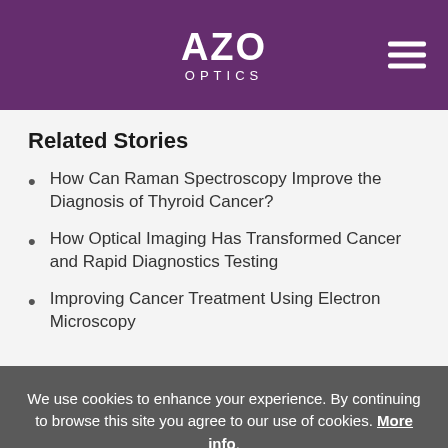AZO OPTICS
Related Stories
How Can Raman Spectroscopy Improve the Diagnosis of Thyroid Cancer?
How Optical Imaging Has Transformed Cancer and Rapid Diagnostics Testing
Improving Cancer Treatment Using Electron Microscopy
We use cookies to enhance your experience. By continuing to browse this site you agree to our use of cookies. More info.
✓ Accept   Cookie Settings